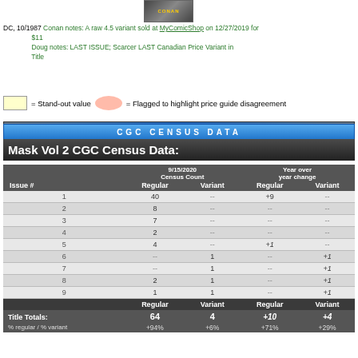[Figure (photo): Comic book cover thumbnail image]
DC, 10/1987  Conan notes: A raw 4.5 variant sold at MyComicShop on 12/27/2019 for $11
Doug notes: LAST ISSUE; Scarcer LAST Canadian Price Variant in Title
= Stand-out value   = Flagged to highlight price guide disagreement
CGC CENSUS DATA
Mask Vol 2 CGC Census Data:
| Issue # | Regular (9/15/2020 Census Count) | Variant (9/15/2020 Census Count) | Regular (Year over year change) | Variant (Year over year change) |
| --- | --- | --- | --- | --- |
| 1 | 40 | -- | +9 | -- |
| 2 | 8 | -- | -- | -- |
| 3 | 7 | -- | -- | -- |
| 4 | 2 | -- | -- | -- |
| 5 | 4 | -- | +1 | -- |
| 6 | -- | 1 | -- | +1 |
| 7 | -- | 1 | -- | +1 |
| 8 | 2 | 1 | -- | +1 |
| 9 | 1 | 1 | -- | +1 |
|  | Regular | Variant | Regular | Variant |
| --- | --- | --- | --- | --- |
| Title Totals: | 64 | 4 | +10 | +4 |
| % regular / % variant | +94% | +6% | +71% | +29% |